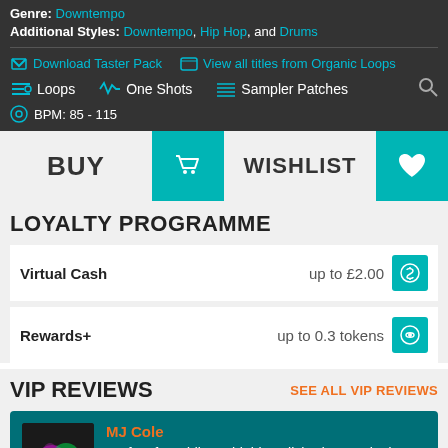Genre: Downtempo
Additional Styles: Downtempo, Hip Hop, and Drums
Download Taster Pack   View all titles from Organic Loops
Loops   One Shots   Sampler Patches
BPM: 85 - 115
BUY    WISHLIST
LOYALTY PROGRAMME
Virtual Cash   up to £2.00
Rewards+   up to 0.3 tokens
VIP REVIEWS
SEE ALL VIP REVIEWS
MJ Cole
Perfect for adding a highly polished acoustic drum sound to a mix.